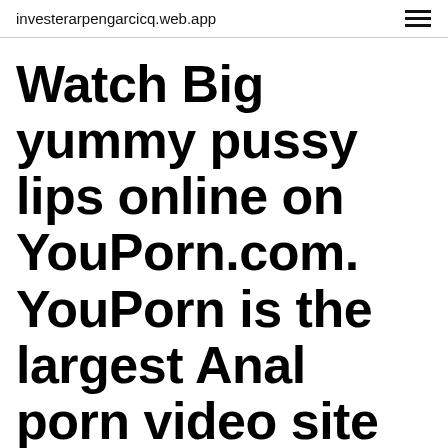investerarpengarcicq.web.app
Watch Big yummy pussy lips online on YouPorn.com. YouPorn is the largest Anal porn video site with the hottest selection of